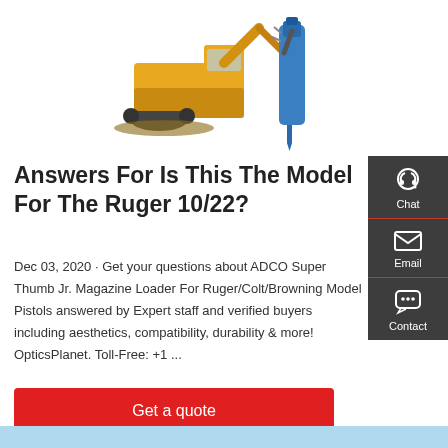[Figure (photo): Yellow excavator with blue hydraulic breaker attachment on a dirt mound, white background]
Answers For Is This The Model For The Ruger 10/22?
Dec 03, 2020 · Get your questions about ADCO Super Thumb Jr. Magazine Loader For Ruger/Colt/Browning Model Pistols answered by Expert staff and verified buyers including aesthetics, compatibility, durability & more! OpticsPlanet. Toll-Free: +1 ...
Get a quote